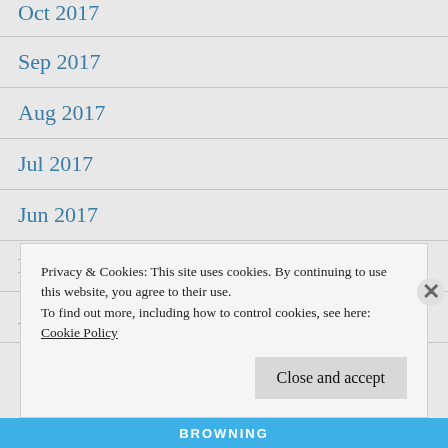Oct 2017
Sep 2017
Aug 2017
Jul 2017
Jun 2017
May 2017
Apr 2017
Privacy & Cookies: This site uses cookies. By continuing to use this website, you agree to their use.
To find out more, including how to control cookies, see here:
Cookie Policy
Close and accept